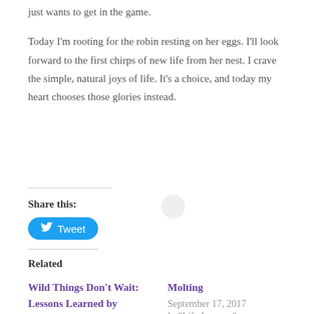just wants to get in the game.
Today I'm rooting for the robin resting on her eggs. I'll look forward to the first chirps of new life from her nest. I crave the simple, natural joys of life. It's a choice, and today my heart chooses those glories instead.
Share this:
[Figure (other): Tweet button with Twitter bird icon]
Related
Wild Things Don't Wait: Lessons Learned by Picking Wild Berries
June 10, 2020
In "Change and
Molting
September 17, 2017
In "Life Lessons"